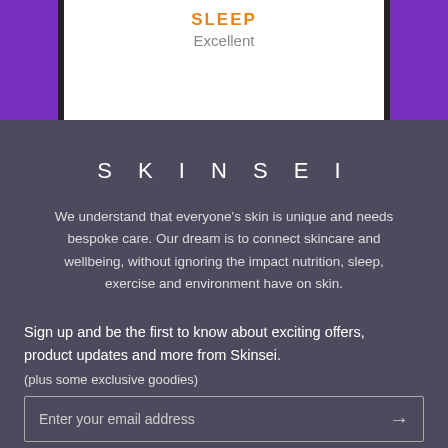[Figure (screenshot): Top portion of a smartphone screen showing SLEEP label in orange and 'Excellent' in gray on white background, framed by dark phone bezels, on purple background]
SKINSEI
We understand that everyone's skin is unique and needs bespoke care. Our dream is to connect skincare and wellbeing, without ignoring the impact nutrition, sleep, exercise and environment have on skin.
Sign up and be the first to know about exciting offers, product updates and more from Skinsei.
(plus some exclusive goodies)
Enter your email address